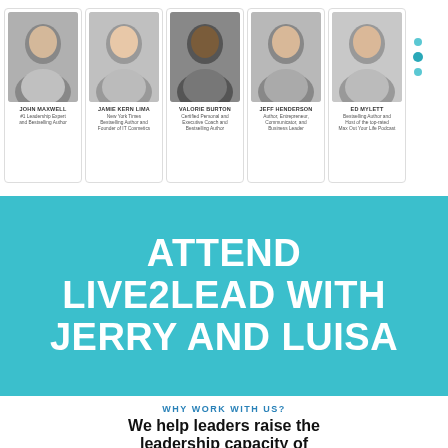[Figure (photo): Five speaker headshot cards in a row: John Maxwell, Jamie Kern Lima, Valorie Burton, Jeff Henderson, Ed Mylett, each with name and description below]
ATTEND LIVE2LEAD WITH JERRY AND LUISA
WHY WORK WITH US?
We help leaders raise the leadership capacity of their organizations